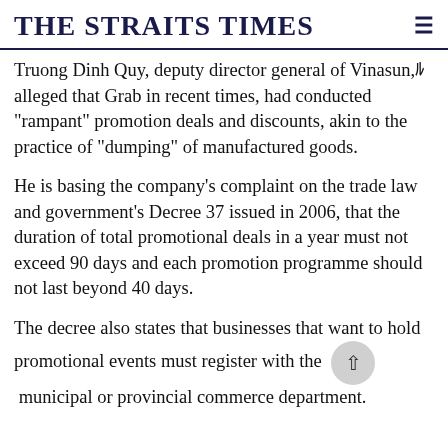THE STRAITS TIMES
Truong Dinh Quy, deputy director general of Vinasun, alleged that Grab in recent times, had conducted "rampant" promotion deals and discounts, akin to the practice of "dumping" of manufactured goods.
He is basing the company's complaint on the trade law and government's Decree 37 issued in 2006, that the duration of total promotional deals in a year must not exceed 90 days and each promotion programme should not last beyond 40 days.
The decree also states that businesses that want to hold promotional events must register with the municipal or provincial commerce department.